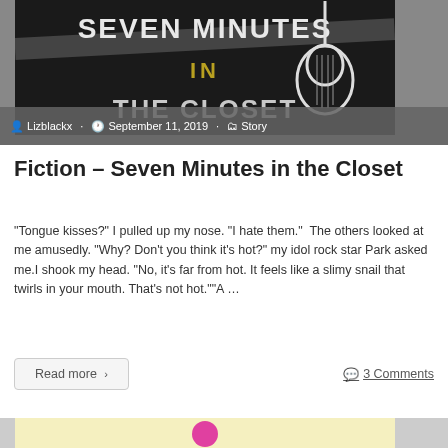[Figure (photo): Book cover image for 'Seven Minutes in the Closet' showing text and a guitar outline on dark background]
Lizblackx  September 11, 2019  Story
Fiction – Seven Minutes in the Closet
"Tongue kisses?" I pulled up my nose. "I hate them."  The others looked at me amusedly. "Why? Don't you think it's hot?" my idol rock star Park asked me.I shook my head. "No, it's far from hot. It feels like a slimy snail that twirls in your mouth. That's not hot.""A …
Read more ›
3 Comments
[Figure (photo): Partial photo showing a person with pink/magenta hair on a light yellow background — cropped at bottom of page]